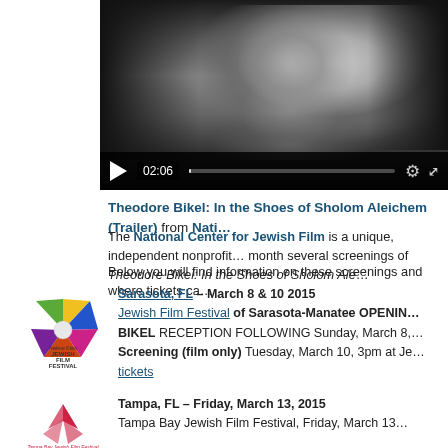[Figure (screenshot): Video player showing black and white close-up photo of a man's face (Theodore Bikel), with playback controls bar at bottom showing play button, timestamp 02:06, progress bar, gear icon, and fullscreen icon.]
Theodore Bikel: In the Shoes of Sholom Aleichem (Trailer) from Nati…
The National Center for Jewish Film is a unique, independent nonprofit... month several screenings of Theodore Bikel: In the Shoes of Sholom Ale…
Below you will find information on these screenings and where tickets ca…
Sarasota, FL – March 8 & 10 2015
Jewish Film Festival of Sarasota-Manatee OPENIN…
BIKEL RECEPTION FOLLOWING Sunday, March 8,…
Screening (film only) Tuesday, March 10, 3pm at Je…
tickets
Tampa, FL – Friday, March 13, 2015
Tampa Bay Jewish Film Festival, Friday, March 13…